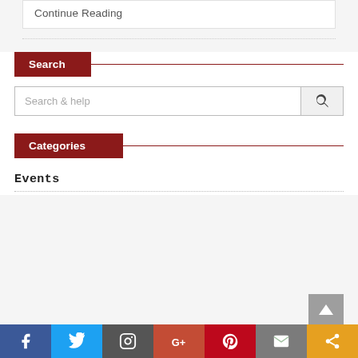Continue Reading
Search
Search & help
Categories
Events
[Figure (screenshot): Social media sharing bar with Facebook, Twitter, Instagram, Google+, Pinterest, Mail, and Share buttons]